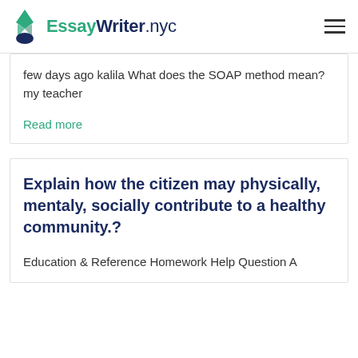EssayWriter.nyc
few days ago kalila What does the SOAP method mean? my teacher
Read more
Explain how the citizen may physically, mentaly, socially contribute to a healthy community.?
Education & Reference Homework Help Question A